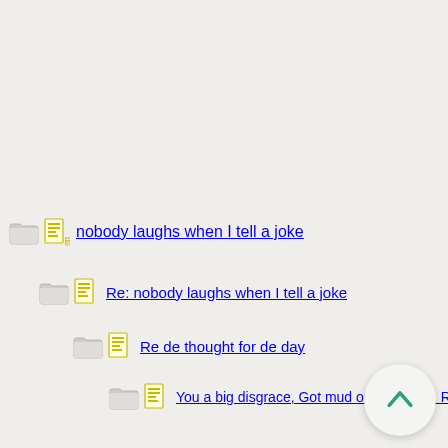nobody laughs when I tell a joke
Re: nobody laughs when I tell a joke
Re de thought for de day
You a big disgrace, Got mud on your face. Rock On
Only in NYC
Monday's word in brief : VOLUBLE